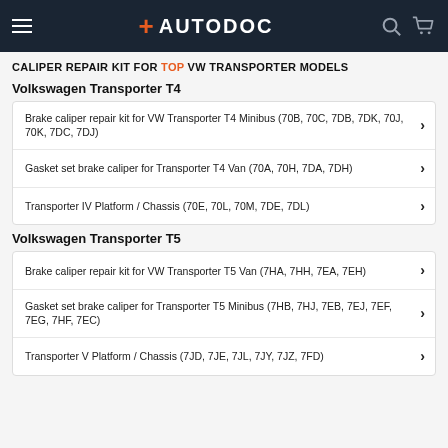AUTODOC
CALIPER REPAIR KIT FOR TOP VW TRANSPORTER MODELS
Volkswagen Transporter T4
Brake caliper repair kit for VW Transporter T4 Minibus (70B, 70C, 7DB, 7DK, 70J, 70K, 7DC, 7DJ)
Gasket set brake caliper for Transporter T4 Van (70A, 70H, 7DA, 7DH)
Transporter IV Platform / Chassis (70E, 70L, 70M, 7DE, 7DL)
Volkswagen Transporter T5
Brake caliper repair kit for VW Transporter T5 Van (7HA, 7HH, 7EA, 7EH)
Gasket set brake caliper for Transporter T5 Minibus (7HB, 7HJ, 7EB, 7EJ, 7EF, 7EG, 7HF, 7EC)
Transporter V Platform / Chassis (7JD, 7JE, 7JL, 7JY, 7JZ, 7FD)